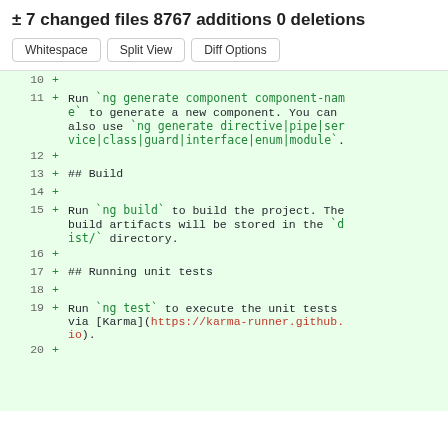± 7 changed files 8767 additions 0 deletions
Whitespace  Split View  Diff Options
10  +
11  + Run `ng generate component component-name` to generate a new component. You can also use `ng generate directive|pipe|service|class|guard|interface|enum|module`.
12  +
13  + ## Build
14  +
15  + Run `ng build` to build the project. The build artifacts will be stored in the `dist/` directory.
16  +
17  + ## Running unit tests
18  +
19  + Run `ng test` to execute the unit tests via [Karma](https://karma-runner.github.io).
20  +